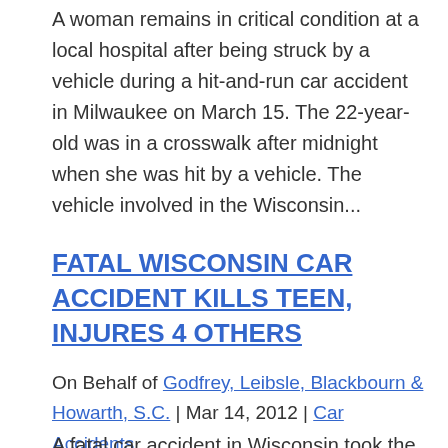A woman remains in critical condition at a local hospital after being struck by a vehicle during a hit-and-run car accident in Milwaukee on March 15. The 22-year-old was in a crosswalk after midnight when she was hit by a vehicle. The vehicle involved in the Wisconsin...
FATAL WISCONSIN CAR ACCIDENT KILLS TEEN, INJURES 4 OTHERS
On Behalf of Godfrey, Leibsle, Blackbourn & Howarth, S.C. | Mar 14, 2012 | Car Accidents
A fatal car accident in Wisconsin took the life of a...